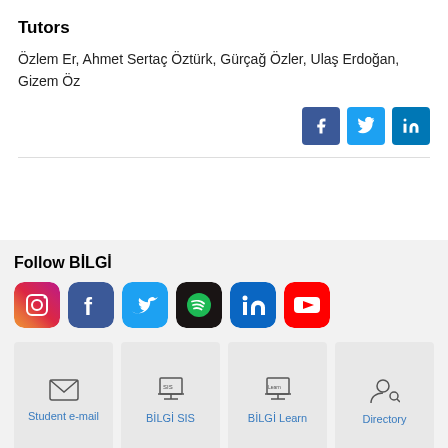Tutors
Özlem Er, Ahmet Sertaç Öztürk, Gürçağ Özler, Ulaş Erdoğan, Gizem Öz
[Figure (infographic): Social share buttons: Facebook, Twitter, LinkedIn]
Follow BİLGİ
[Figure (infographic): Social media icons: Instagram, Facebook, Twitter, Spotify, LinkedIn, YouTube]
[Figure (infographic): Quick link cards: Student e-mail, BİLGİ SIS, BİLGİ Learn, Directory]